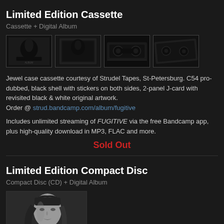Limited Edition Cassette
Cassette + Digital Album
[Figure (photo): Four product photos of a limited edition cassette: album cover front, cassette case side view, open cassette tape front, open cassette tape angled view]
Jewel case cassette courtesy of Strudel Tapes, St-Petersburg. C54 pro-dubbed, black shell with stickers on both sides, 2-panel J-card with revisited black & white original artwork.
Order @ strud.bandcamp.com/album/fugitive
Includes unlimited streaming of FUGITIVE via the free Bandcamp app, plus high-quality download in MP3, FLAC and more.
Sold Out
Limited Edition Compact Disc
Compact Disc (CD) + Digital Album
[Figure (photo): Black and white portrait photo of a woman with short dark hair, looking to the side]